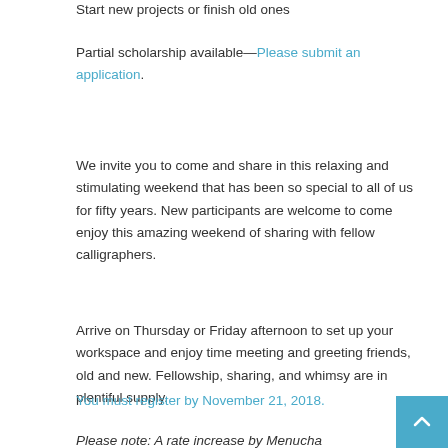Start new projects or finish old ones
Partial scholarship available—Please submit an application.
We invite you to come and share in this relaxing and stimulating weekend that has been so special to all of us for fifty years. New participants are welcome to come enjoy this amazing weekend of sharing with fellow calligraphers.
Arrive on Thursday or Friday afternoon to set up your workspace and enjoy time meeting and greeting friends, old and new. Fellowship, sharing, and whimsy are in plentiful supply.
You must register by November 21, 2018.
Please note: A rate increase by Menucha